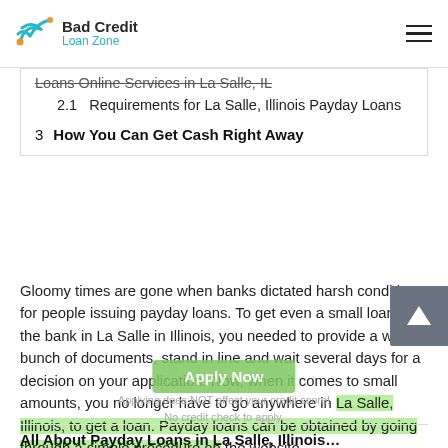Bad Credit Loan Zone
Loans Online Services in La Salle, IL (strikethrough)
2.1  Requirements for La Salle, Illinois Payday Loans
3  How You Can Get Cash Right Away
Gloomy times are gone when banks dictated harsh conditions for people issuing payday loans. To get even a small loan in the bank in La Salle in Illinois, you needed to provide a whole bunch of documents, stand in line and wait several days for a decision on your application. Now, when it comes to small amounts, you no longer have to go anywhere in La Salle, Illinois, to get a loan. Payday loans can be obtained by going through a simple procedure on the website.
Applying does NOT affect your credit score!
No credit check to apply.
All About Payday Loans in La Salle, Illinois...